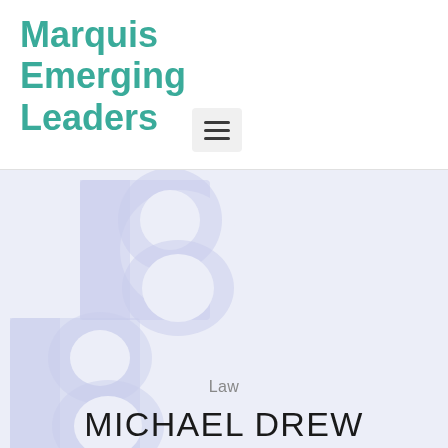Marquis Emerging Leaders
[Figure (other): Hamburger menu button icon with three horizontal lines on a light gray rounded background]
[Figure (illustration): Decorative background with large letter B shapes in pale lavender/periwinkle color forming a stylized monogram or logo watermark]
Law
MICHAEL DREW